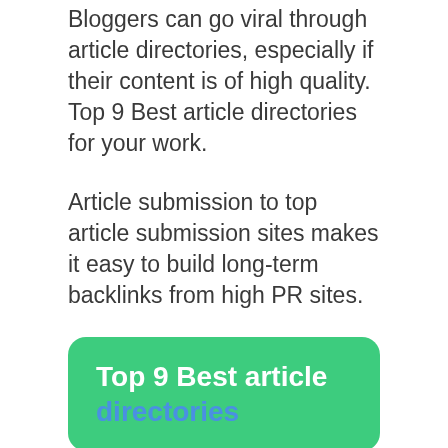Bloggers can go viral through article directories, especially if their content is of high quality. Top 9 Best article directories for your work.
Article submission to top article submission sites makes it easy to build long-term backlinks from high PR sites.
Top 9 Best article directories
Content Marketing Strategy can help if you're having trouble with your